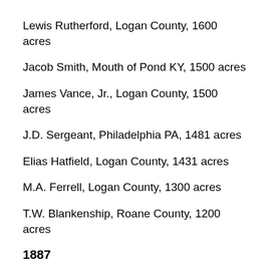Lewis Rutherford, Logan County, 1600 acres
Jacob Smith, Mouth of Pond KY, 1500 acres
James Vance, Jr., Logan County, 1500 acres
J.D. Sergeant, Philadelphia PA, 1481 acres
Elias Hatfield, Logan County, 1431 acres
M.A. Ferrell, Logan County, 1300 acres
T.W. Blankenship, Roane County, 1200 acres
1887
William S. Ferrell, Logan County, 2650 acres, Thackers Creek and Sandy River
Warren Alderson, Morehead KY, 2640 acres, Sandy River